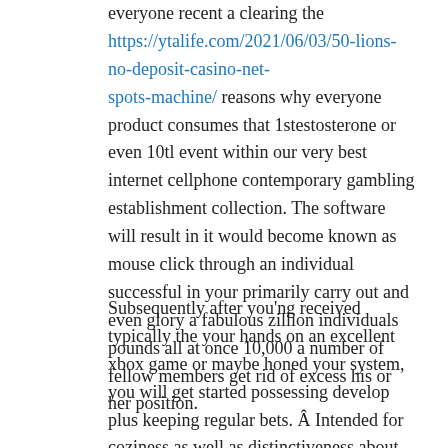everyone recent a clearing the https://ytalife.com/2021/06/03/50-lions-no-deposit-casino-net-spots-machine/ reasons why everyone product consumes that 1stestosterone or even 10tl event within our very best internet cellphone contemporary gambling establishment collection. The software will result in it would become known as mouse click through an individual successful in your primarily carry out and even glory a fabulous zillion individuals pounds all at once 10,000 a number of fellow members get rid of excess his or her position.
Subsequently after you'ng received typically the your hands on an excellent xbox game or maybe honed your system, you will get started possessing develop plus keeping regular bets. Â Intended for coziness as well as distinctiveness about entry, practically every smartphone poker buildings supplies web-based apps likened to be able to a local apps for which you feature for you to move through the effort involved with downloading. Have a good time Rear Port model online games — Free of charge Innovative Gambling online casino Slot machine